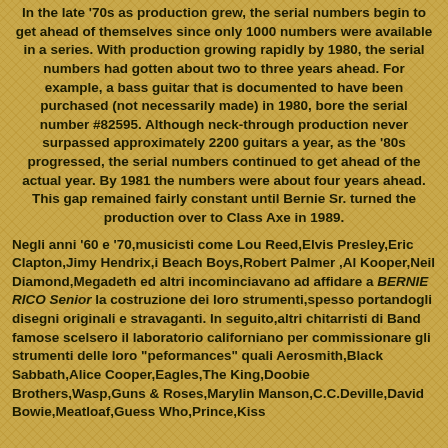In the late '70s as production grew, the serial numbers begin to get ahead of themselves since only 1000 numbers were available in a series. With production growing rapidly by 1980, the serial numbers had gotten about two to three years ahead. For example, a bass guitar that is documented to have been purchased (not necessarily made) in 1980, bore the serial number #82595. Although neck-through production never surpassed approximately 2200 guitars a year, as the '80s progressed, the serial numbers continued to get ahead of the actual year. By 1981 the numbers were about four years ahead. This gap remained fairly constant until Bernie Sr. turned the production over to Class Axe in 1989.
Negli anni '60 e '70,musicisti come Lou Reed,Elvis Presley,Eric Clapton,Jimy Hendrix,i Beach Boys,Robert Palmer ,Al Kooper,Neil Diamond,Megadeth ed altri incominciavano ad affidare a BERNIE RICO Senior la costruzione dei loro strumenti,spesso portandogli disegni originali e stravaganti. In seguito,altri chitarristi di Band famose scelsero il laboratorio californiano per commissionare gli strumenti delle loro "peformances" quali Aerosmith,Black Sabbath,Alice Cooper,Eagles,The King,Doobie Brothers,Wasp,Guns & Roses,Marylin Manson,C.C.Deville,David Bowie,Meatloaf,Guess Who,Prince,Kiss